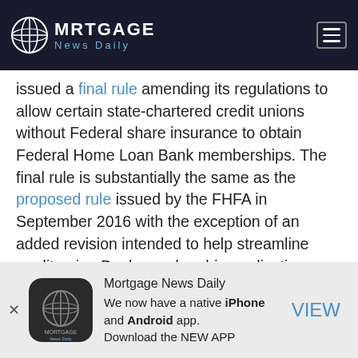Mortgage News Daily
issued a final rule amending its regulations to allow certain state-chartered credit unions without Federal share insurance to obtain Federal Home Loan Bank memberships. The final rule is substantially the same as the proposed rule issued by the FHFA in September 2016 with the exception of an added revision intended to help streamline credit union Bank membership applications. The amendment was adopted in order to implement a provision of the Fixing America's Surface Transportation Act and goes into effect July 5, 2017.
[Figure (logo): Mortgage News Daily app advertisement with globe logo icon, text reading 'Mortgage News Daily - We now have a native iPhone and Android app. Download the NEW APP' and a VIEW link]